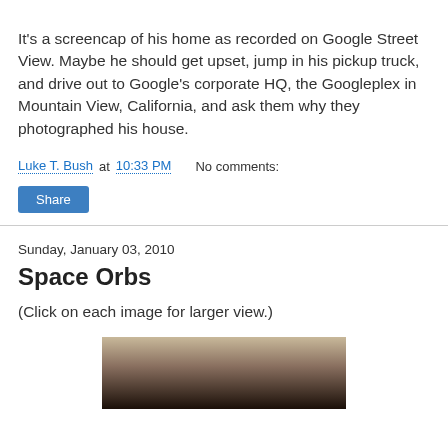It's a screencap of his home as recorded on Google Street View. Maybe he should get upset, jump in his pickup truck, and drive out to Google's corporate HQ, the Googleplex in Mountain View, California, and ask them why they photographed his house.
Luke T. Bush at 10:33 PM    No comments:
Share
Sunday, January 03, 2010
Space Orbs
(Click on each image for larger view.)
[Figure (photo): Partial photo of an object with tan and dark brown tones, cropped at the bottom of the page.]